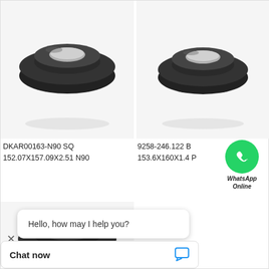[Figure (photo): Black rubber ring/seal (top-left product): DKAR00163-N90 SQ 152.07X157.09X2.51 N90]
[Figure (photo): Black rubber ring/seal (top-right product): 9258-246.122 B 153.6X160X1.4 P]
DKAR00163-N90 SQ
152.07X157.09X2.51 N90
9258-246.122 B
153.6X160X1.4 P
[Figure (logo): WhatsApp green circle logo with phone icon and text WhatsApp Online]
[Figure (photo): Black rubber ring/seal (bottom-left product, partial view)]
Hello, how may I help you?
Chat now